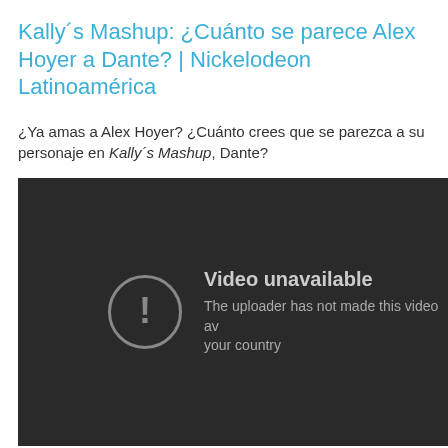Kally´s Mashup: ¿Cuánto se parece Alex Hoyer a Dante? | Nickelodeon Latinoamérica
¿Ya amas a Alex Hoyer? ¿Cuánto crees que se parezca a su personaje en Kally´s Mashup, Dante?
[Figure (screenshot): Video unavailable screen with dark background, circle exclamation icon, and text: 'Video unavailable. The uploader has not made this video available in your country']